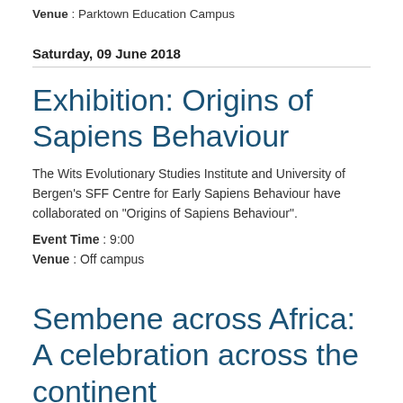Venue : Parktown Education Campus
Saturday, 09 June 2018
Exhibition: Origins of Sapiens Behaviour
The Wits Evolutionary Studies Institute and University of Bergen's SFF Centre for Early Sapiens Behaviour have collaborated on "Origins of Sapiens Behaviour".
Event Time : 9:00
Venue : Off campus
Sembene across Africa: A celebration across the continent